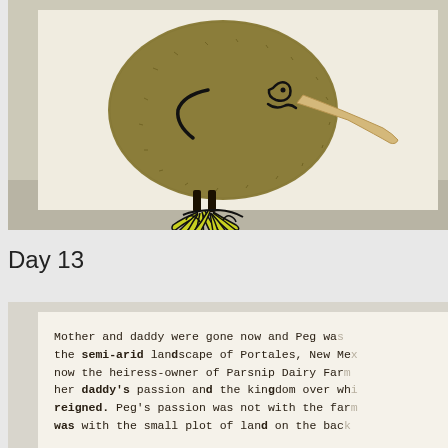[Figure (photo): A kiwi fruit decorated to look like a kiwi bird: a large oval kiwi fruit forms the body with a drawn face and wing markings in black marker, a pale parsnip or similar vegetable forms the long beak, and colorful drawn yellow-and-black clawed feet are shown beneath on a white card background.]
Day 13
[Figure (photo): A close-up photograph of a printed/typewritten page of text on aged paper. The visible text reads: 'Mother and daddy were gone now and Peg wa... the semi-arid landscape of Portales, New Me... now the heiress-owner of Parsnip Dairy Far... her daddy's passion and the kingdom over wh... reigned. Peg's passion was not with the far... was with the small plot of land on the bac...']